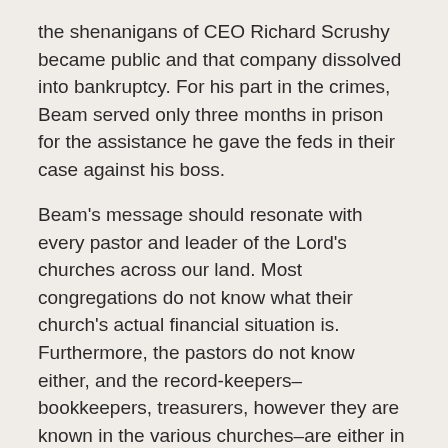the shenanigans of CEO Richard Scrushy became public and that company dissolved into bankruptcy. For his part in the crimes, Beam served only three months in prison for the assistance he gave the feds in their case against his boss.
Beam's message should resonate with every pastor and leader of the Lord's churches across our land. Most congregations do not know what their church's actual financial situation is. Furthermore, the pastors do not know either, and the record-keepers–bookkeepers, treasurers, however they are known in the various churches–are either in over their heads or have developed their own system which they alone understand.
Consider this a wake-up call.
What percentage of churches are being victimized by unscrupulous treasurers and bookkeepers? No one knows. But I venture to guess that the ones we hear about are merely the